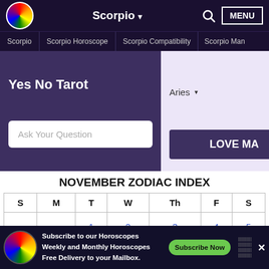Scorpio ▾  🔍  MENU
Scorpio | Scorpio Horoscope | Scorpio Compatibility | Scorpio Man
Yes No Tarot
Ask Your Question
Aries ▾
LOVE MA
NOVEMBER ZODIAC INDEX
| S | M | T | W | Th | F | S |
| --- | --- | --- | --- | --- | --- | --- |
|  |  | 1 | 2 | 3 | 4 | 5 |
X
Subscribe to our Horoscopes Weekly and Monthly Horoscopes Free Delivery to your Mailbox.
Subscribe Now